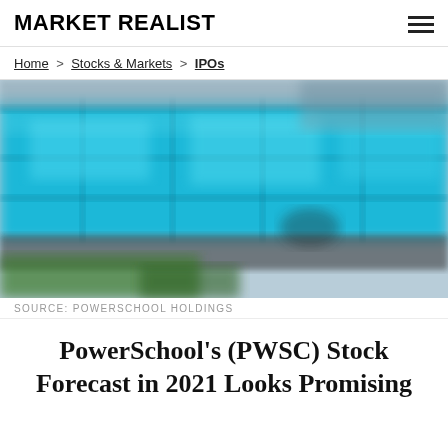MARKET REALIST
Home > Stocks & Markets > IPOs
[Figure (photo): Blurred photo of a building exterior featuring large cyan/blue digital display screens]
SOURCE: POWERSCHOOL HOLDINGS
PowerSchool's (PWSC) Stock Forecast in 2021 Looks Promising